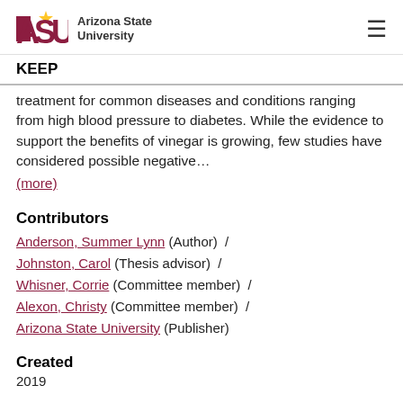ASU Arizona State University
KEEP
treatment for common diseases and conditions ranging from high blood pressure to diabetes. While the evidence to support the benefits of vinegar is growing, few studies have considered possible negative…
(more)
Contributors
Anderson, Summer Lynn (Author)  /
Johnston, Carol (Thesis advisor)  /
Whisner, Corrie (Committee member)  /
Alexon, Christy (Committee member)  /
Arizona State University (Publisher)
Created
2019